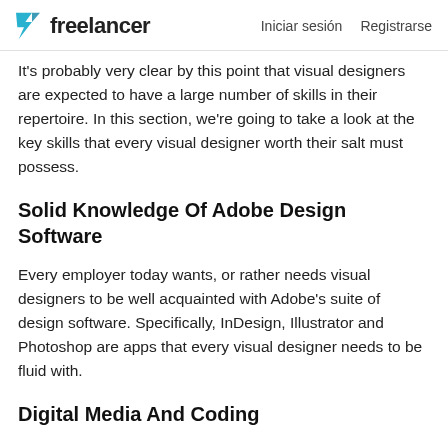freelancer   Iniciar sesión   Registrarse
It's probably very clear by this point that visual designers are expected to have a large number of skills in their repertoire. In this section, we're going to take a look at the key skills that every visual designer worth their salt must possess.
Solid Knowledge Of Adobe Design Software
Every employer today wants, or rather needs visual designers to be well acquainted with Adobe's suite of design software. Specifically, InDesign, Illustrator and Photoshop are apps that every visual designer needs to be fluid with.
Digital Media And Coding